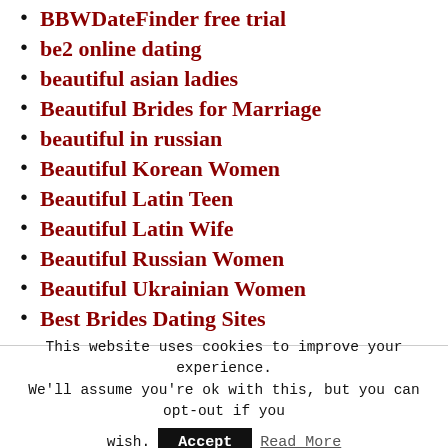BBWDateFinder free trial
be2 online dating
beautiful asian ladies
Beautiful Brides for Marriage
beautiful in russian
Beautiful Korean Women
Beautiful Latin Teen
Beautiful Latin Wife
Beautiful Russian Women
Beautiful Ukrainian Women
Best Brides Dating Sites
This website uses cookies to improve your experience. We'll assume you're ok with this, but you can opt-out if you wish.